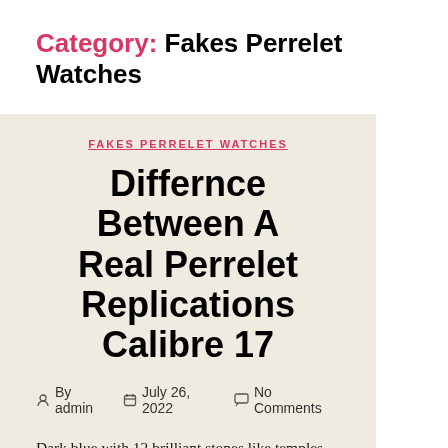Category: Fakes Perrelet Watches
FAKES PERRELET WATCHES
Differnce Between A Real Perrelet Replications Calibre 17
By admin   July 26, 2022   No Comments
Dark blue with 12 brilliant stones like temples using attractive beauty. When cutting a red comment with a